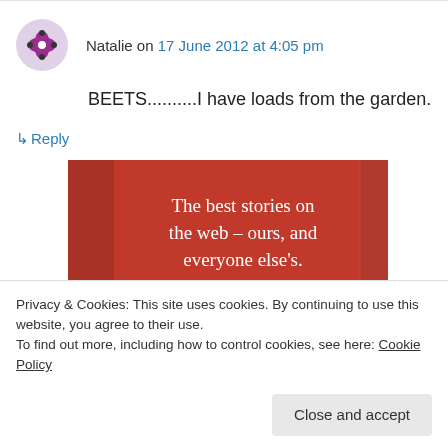Natalie on 17 June 2012 at 4:05 pm
BEETS..........I have loads from the garden.
↳ Reply
[Figure (other): Red advertisement banner reading 'The best stories on the web – ours, and everyone else's.' with a black 'Start reading' button]
Privacy & Cookies: This site uses cookies. By continuing to use this website, you agree to their use.
To find out more, including how to control cookies, see here: Cookie Policy